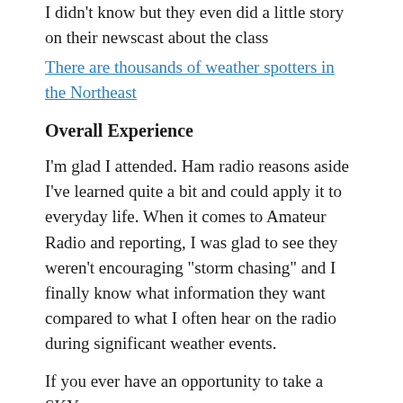I didn't know but they even did a little story on their newscast about the class
There are thousands of weather spotters in the Northeast
Overall Experience
I'm glad I attended. Ham radio reasons aside I've learned quite a bit and could apply it to everyday life. When it comes to Amateur Radio and reporting, I was glad to see they weren't encouraging “storm chasing” and I finally know what information they want compared to what I often hear on the radio during significant weather events.
If you ever have an opportunity to take a SKYWARN